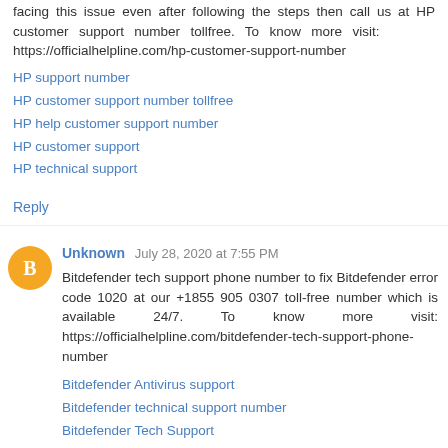facing this issue even after following the steps then call us at HP customer support number tollfree. To know more visit: https://officialhelpline.com/hp-customer-support-number
HP support number
HP customer support number tollfree
HP help customer support number
HP customer support
HP technical support
Reply
Unknown  July 28, 2020 at 7:55 PM
Bitdefender tech support phone number to fix Bitdefender error code 1020 at our +1855 905 0307 toll-free number which is available 24/7. To know more visit: https://officialhelpline.com/bitdefender-tech-support-phone-number
Bitdefender Antivirus support
Bitdefender technical support number
Bitdefender Tech Support